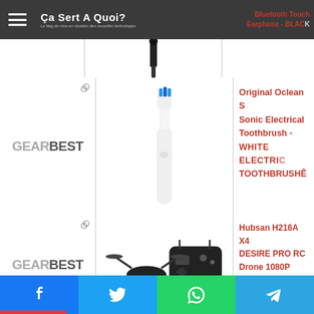Ça Sert A Quoi? — Le blog de mise en situation des nouvelles technologies
[Figure (photo): Partial top row: cropped selfie stick tip image, and partially visible text 'Bluetooth Touch Earphone - BLACK']
[Figure (logo): GearBest logo in row 2]
[Figure (photo): Oclean S Sonic Electrical Toothbrush product photo - white electric toothbrush]
Original Oclean S Sonic Electrical Toothbrush - WHITE ELECTRIC TOOTHBRUSHÊ
[Figure (logo): GearBest logo in row 3]
[Figure (photo): Hubsan H216A X4 DESIRE PRO RC Drone 1080P WiFi Camera product photo - black drone with controller]
Hubsan H216A X4 DESIRE PRO RC Drone 1080P WiFi Camera - BLACKK
Facebook Twitter WhatsApp Telegram